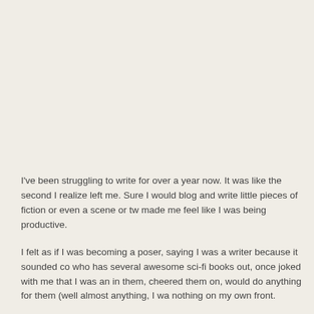I've been struggling to write for over a year now. It was like the second I realize left me. Sure I would blog and write little pieces of fiction or even a scene or tw made me feel like I was being productive.
I felt as if I was becoming a poser, saying I was a writer because it sounded co who has several awesome sci-fi books out, once joked with me that I was an in them, cheered them on, would do anything for them (well almost anything, I wa nothing on my own front.